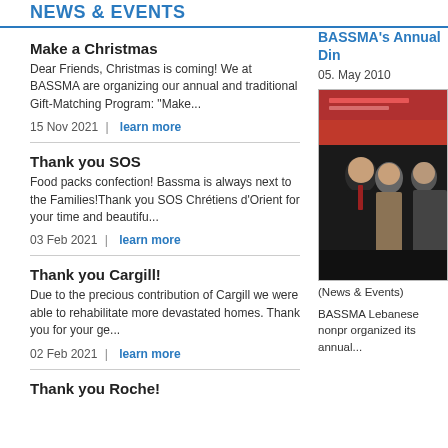NEWS & EVENTS
Make a Christmas
Dear Friends, Christmas is coming! We at BASSMA are organizing our annual and traditional Gift-Matching Program: "Make...
15 Nov 2021 | learn more
Thank you SOS
Food packs confection! Bassma is always next to the Families!Thank you SOS Chrétiens d'Orient for your time and beautifu...
03 Feb 2021 | learn more
Thank you Cargill!
Due to the precious contribution of Cargill we were able to rehabilitate more devastated homes. Thank you for your ge...
02 Feb 2021 | learn more
Thank you Roche!
BASSMA's Annual Din
05. May 2010
[Figure (photo): Group photo at BASSMA annual dinner event with people posing in front of a red banner]
(News & Events)
BASSMA Lebanese nonpr organized its annual...